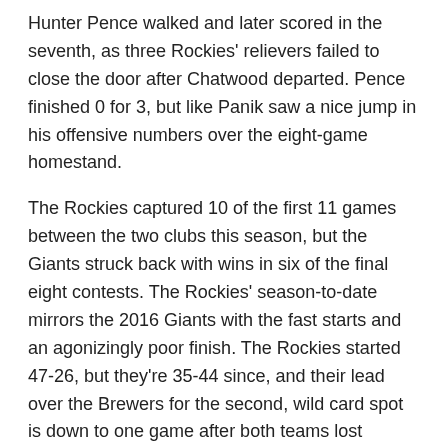Hunter Pence walked and later scored in the seventh, as three Rockies' relievers failed to close the door after Chatwood departed. Pence finished 0 for 3, but like Panik saw a nice jump in his offensive numbers over the eight-game homestand.
The Rockies captured 10 of the first 11 games between the two clubs this season, but the Giants struck back with wins in six of the final eight contests. The Rockies' season-to-date mirrors the 2016 Giants with the fast starts and an agonizingly poor finish. The Rockies started 47-26, but they're 35-44 since, and their lead over the Brewers for the second, wild card spot is down to one game after both teams lost Wednesday. The similarities between the two seasons weren't lost on Chatwood.
“I think we came in here and beat them two out of three at the very end of last year when they were in the wild card, so I think that’s what you kind of play for is to interrupt somebody’s run for